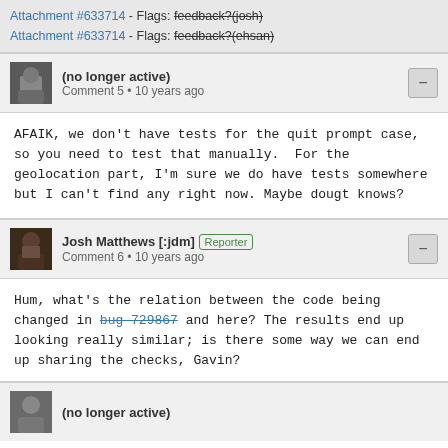Attachment #633714 - Flags: feedback?(josh)
Attachment #633714 - Flags: feedback?(ehsan)
(no longer active)
Comment 5 • 10 years ago
AFAIK, we don't have tests for the quit prompt case, so you need to test that manually.  For the geolocation part, I'm sure we do have tests somewhere but I can't find any right now. Maybe dougt knows?
Josh Matthews [:jdm] Reporter
Comment 6 • 10 years ago
Hum, what's the relation between the code being changed in bug 729867 and here? The results end up looking really similar; is there some way we can end up sharing the checks, Gavin?
(no longer active)